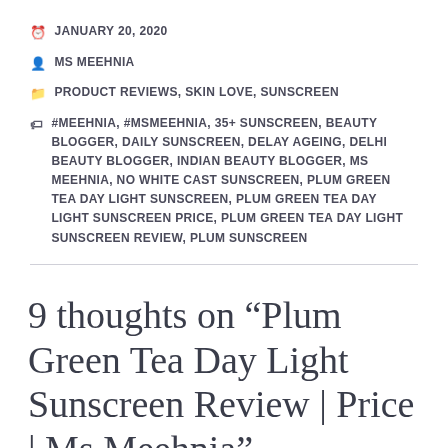JANUARY 20, 2020
MS MEEHNIA
PRODUCT REVIEWS, SKIN LOVE, SUNSCREEN
#MEEHNIA, #MSMEEHNIA, 35+ SUNSCREEN, BEAUTY BLOGGER, DAILY SUNSCREEN, DELAY AGEING, DELHI BEAUTY BLOGGER, INDIAN BEAUTY BLOGGER, MS MEEHNIA, NO WHITE CAST SUNSCREEN, PLUM GREEN TEA DAY LIGHT SUNSCREEN, PLUM GREEN TEA DAY LIGHT SUNSCREEN PRICE, PLUM GREEN TEA DAY LIGHT SUNSCREEN REVIEW, PLUM SUNSCREEN
9 thoughts on “Plum Green Tea Day Light Sunscreen Review | Price | Ms Meehnia”